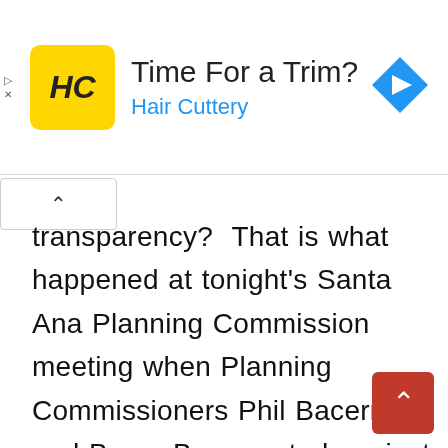[Figure (logo): Hair Cuttery ad banner with HC logo (yellow square with HC), title 'Time For a Trim?', subtitle 'Hair Cuttery', and a blue diamond navigation arrow icon on the right]
transparency?  That is what happened at tonight's Santa Ana Planning Commission meeting when Planning Commissioners Phil Bacerra and Bruce Bauer voted against disclosure of communications by Planning Commissioners regarding agendized projects with third parties such as business owners and residents